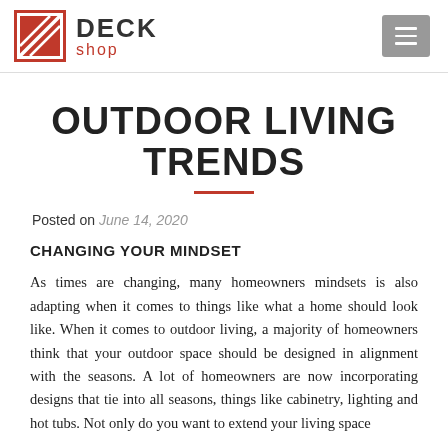DECK shop
OUTDOOR LIVING TRENDS
Posted on June 14, 2020
CHANGING YOUR MINDSET
As times are changing, many homeowners mindsets is also adapting when it comes to things like what a home should look like. When it comes to outdoor living, a majority of homeowners think that your outdoor space should be designed in alignment with the seasons. A lot of homeowners are now incorporating designs that tie into all seasons, things like cabinetry, lighting and hot tubs. Not only do you want to extend your living space